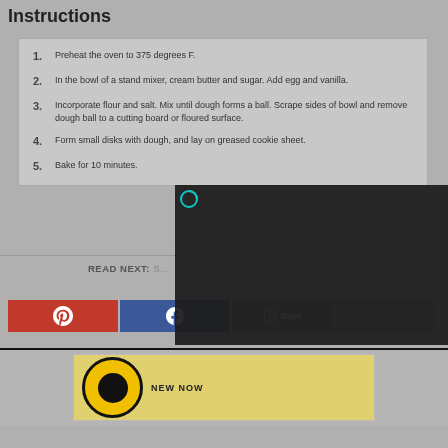Instructions
Preheat the oven to 375 degrees F.
In the bowl of a stand mixer, cream butter and sugar. Add egg and vanilla.
Incorporate flour and salt. Mix until dough forms a ball. Scrape sides of bowl and remove dough ball to a cutting board or floured surface.
Form small disks with dough, and lay on greased cookie sheet.
Bake for 10 minutes.
READ NEXT:
[Figure (screenshot): Video overlay showing a kitchen scene with play button and mute icon]
[Figure (screenshot): Social sharing buttons: Pinterest (red), Facebook (blue), Save (grey), and more options. Bottom advertisement banner.]